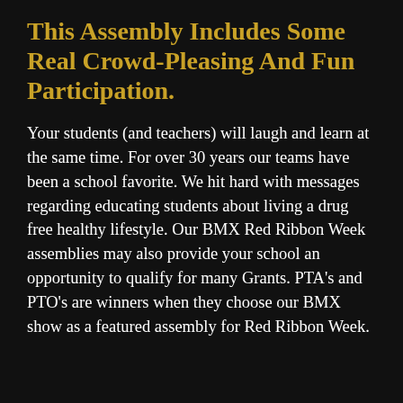This Assembly Includes Some Real Crowd-Pleasing And Fun Participation.
Your students (and teachers) will laugh and learn at the same time. For over 30 years our teams have been a school favorite. We hit hard with messages regarding educating students about living a drug free healthy lifestyle. Our BMX Red Ribbon Week assemblies may also provide your school an opportunity to qualify for many Grants. PTA's and PTO's are winners when they choose our BMX show as a featured assembly for Red Ribbon Week.